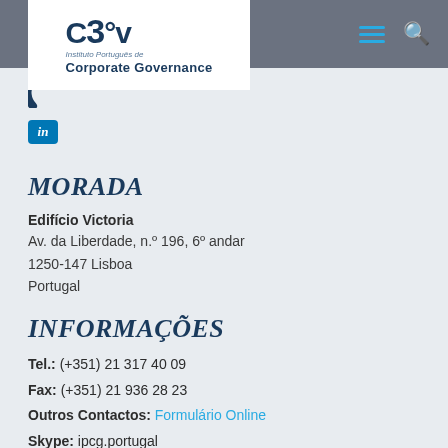Instituto Português de Corporate Governance — sem fins lucrativos
[Figure (logo): CGOV Instituto Português de Corporate Governance logo in white box with grey navigation bar showing hamburger menu and search icon]
in
MORADA
Edifício Victoria
Av. da Liberdade, n.º 196, 6º andar
1250-147 Lisboa
Portugal
INFORMAÇÕES
Tel.: (+351) 21 317 40 09
Fax: (+351) 21 936 28 23
Outros Contactos: Formulário Online
Skype: ipcg.portugal